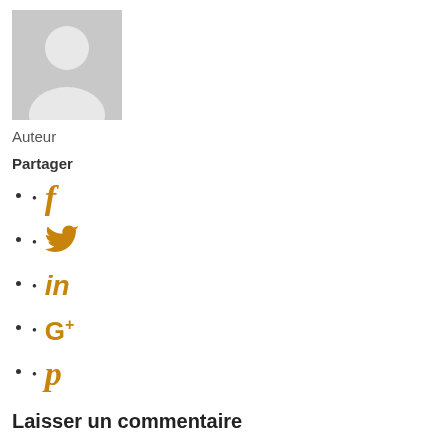[Figure (illustration): Gray placeholder avatar image showing a silhouette of a person]
Auteur
Partager
Facebook icon (f)
Twitter icon (bird)
LinkedIn icon (in)
Google+ icon (G+)
Pinterest icon (p)
Laisser un commentaire
Votre adresse de messagerie ne sera pas publiée. Les champs obligatoires sont indiqués avec *